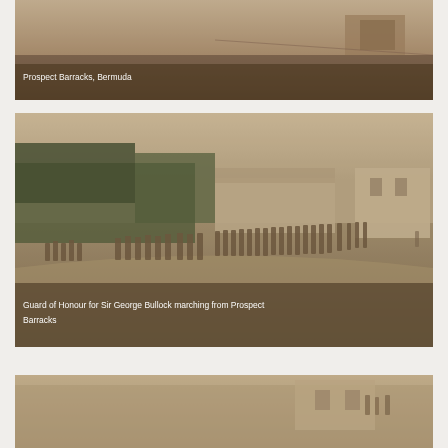[Figure (photo): Sepia-toned historical photograph of Prospect Barracks, Bermuda. Shows a wide open area or parade ground with buildings visible. Caption reads 'Prospect Barracks, Bermuda'.]
[Figure (photo): Sepia-toned historical photograph of a military Guard of Honour marching from Prospect Barracks. Soldiers in colonial-era uniforms march across a wide road with trees and barracks buildings in background. Caption reads 'Guard of Honour for Sir George Bullock marching from Prospect Barracks'.]
[Figure (photo): Partial sepia-toned historical photograph, bottom of page, partially cropped. Shows figures and building details consistent with Prospect Barracks Bermuda series.]